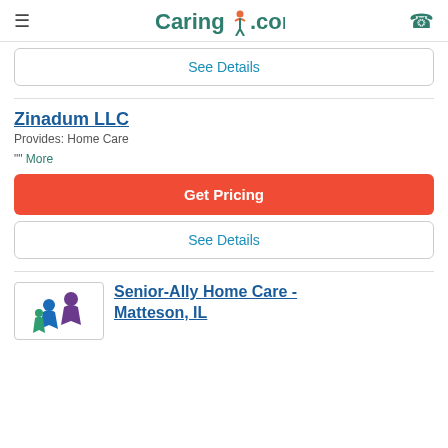Caring.com
See Details
Zinadum LLC
Provides: Home Care
"" More
Get Pricing
See Details
[Figure (logo): Senior-Ally Home Care logo with purple figure]
Senior-Ally Home Care - Matteson, IL